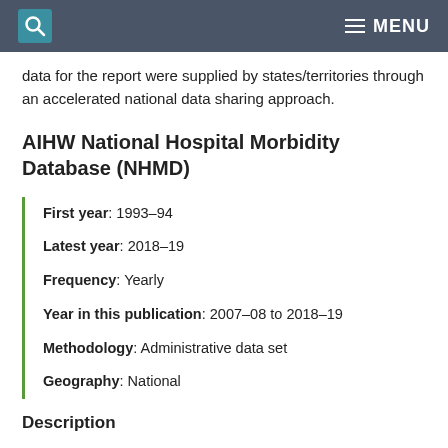MENU
data for the report were supplied by states/territories through an accelerated national data sharing approach.
AIHW National Hospital Morbidity Database (NHMD)
First year: 1993–94
Latest year: 2018–19
Frequency: Yearly
Year in this publication: 2007–08 to 2018–19
Methodology: Administrative data set
Geography: National
Description